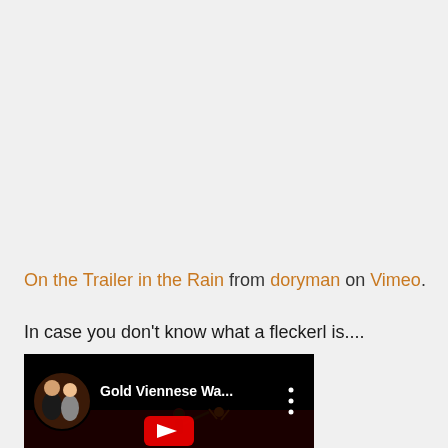On the Trailer in the Rain from doryman on Vimeo.
In case you don't know what a fleckerl is....
[Figure (screenshot): YouTube video thumbnail showing 'Gold Viennese Wa...' with a couple avatar photo, three-dot menu icon, and a dark scene with dancers silhouette below.]